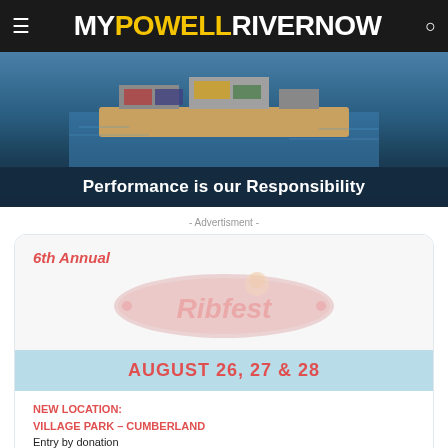MY POWELL RIVER NOW
[Figure (photo): Aerial photo of a barge on water with text overlay 'Performance is our Responsibility']
- Advertisment -
[Figure (infographic): Ribfest advertisement: 6th Annual Ribfest logo, August 26, 27 & 28, New Location: Village Park - Cumberland, Entry by donation, Friday 5-9pm, Saturday 11am-9pm, Sunday 11am-4pm]